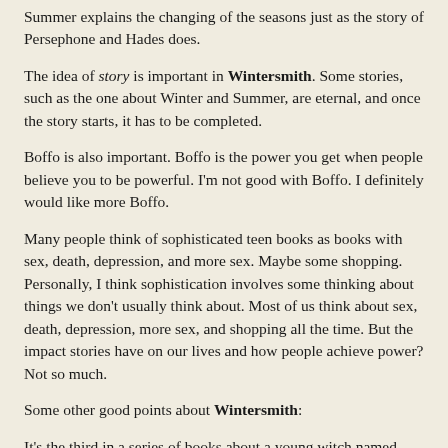Summer explains the changing of the seasons just as the story of Persephone and Hades does.
The idea of story is important in Wintersmith. Some stories, such as the one about Winter and Summer, are eternal, and once the story starts, it has to be completed.
Boffo is also important. Boffo is the power you get when people believe you to be powerful. I'm not good with Boffo. I definitely would like more Boffo.
Many people think of sophisticated teen books as books with sex, death, depression, and more sex. Maybe some shopping. Personally, I think sophistication involves some thinking about things we don't usually think about. Most of us think about sex, death, depression, more sex, and shopping all the time. But the impact stories have on our lives and how people achieve power? Not so much.
Some other good points about Wintersmith:
It's the third in a series of books about a young witch named